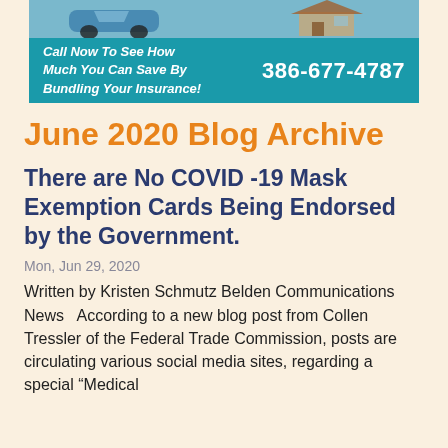[Figure (infographic): Insurance bundling advertisement banner showing a car and house image at top, with teal background below containing text 'Call Now To See How Much You Can Save By Bundling Your Insurance!' and phone number '386-677-4787']
June 2020 Blog Archive
There are No COVID -19 Mask Exemption Cards Being Endorsed by the Government.
Mon, Jun 29, 2020
Written by Kristen Schmutz Belden Communications News   According to a new blog post from Collen Tressler of the Federal Trade Commission, posts are circulating various social media sites, regarding a special “Medical